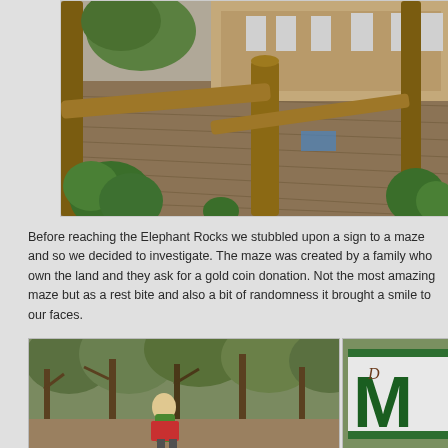[Figure (photo): Outdoor wooden deck area with log posts/railing, chairs visible in background, green shrubs around the deck.]
Before reaching the Elephant Rocks we stubbled upon a sign to a maze and so we decided to investigate. The maze was created by a family who own the land and they ask for a gold coin donation. Not the most amazing maze but as a rest bite and also a bit of randomness it brought a smile to our faces.
[Figure (photo): Person with a red and green backpack standing among dense trees and shrubs in a natural bush setting.]
[Figure (photo): Partial view of a sign with large green letters 'M' visible against a white background, surrounded by greenery.]